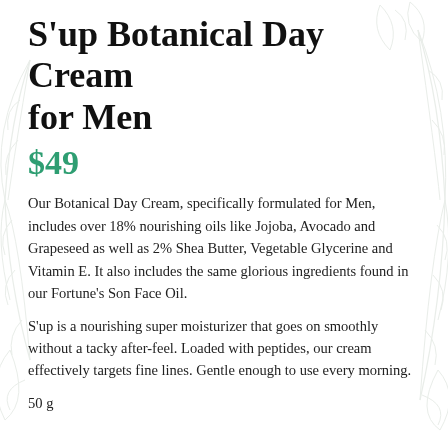S'up Botanical Day Cream for Men
$49
Our Botanical Day Cream, specifically formulated for Men, includes over 18% nourishing oils like Jojoba, Avocado and Grapeseed as well as 2% Shea Butter, Vegetable Glycerine and Vitamin E. It also includes the same glorious ingredients found in our Fortune's Son Face Oil.
S'up is a nourishing super moisturizer that goes on smoothly without a tacky after-feel. Loaded with peptides, our cream effectively targets fine lines. Gentle enough to use every morning.
50 g